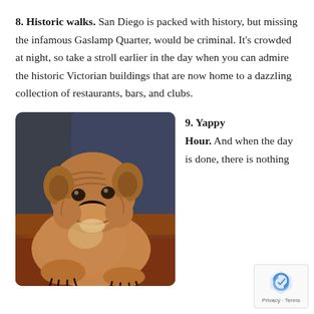8. Historic walks. San Diego is packed with history, but missing the infamous Gaslamp Quarter, would be criminal. It's crowded at night, so take a stroll earlier in the day when you can admire the historic Victorian buildings that are now home to a dazzling collection of restaurants, bars, and clubs.
[Figure (photo): A bulldog resting on a leather couch with a dark blue pillow in the background]
9. Yappy Hour. And when the day is done, there is nothing